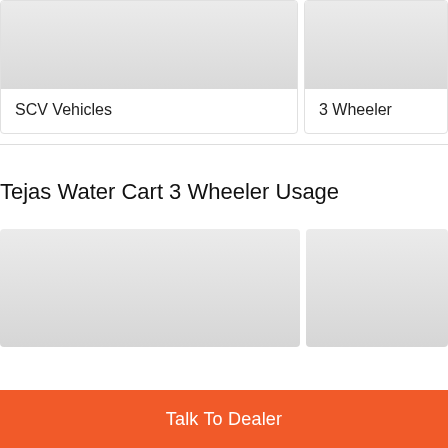[Figure (photo): Gray placeholder image for SCV Vehicles card]
SCV Vehicles
[Figure (photo): Gray placeholder image for 3 Wheeler card (top right, partially visible)]
3 Wheeler
Tejas Water Cart 3 Wheeler Usage
[Figure (photo): Gray placeholder image bottom left]
[Figure (photo): Gray placeholder image bottom right (partially visible)]
Talk To Dealer